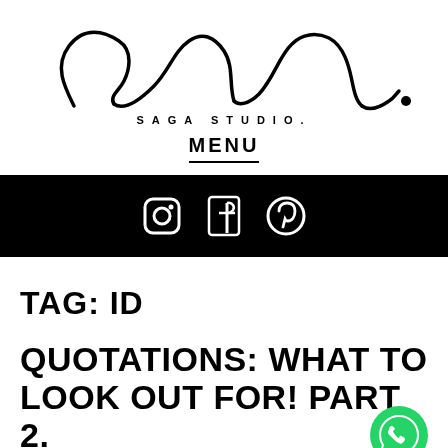[Figure (logo): Lux saga studio handwritten script logo with 'SAGA STUDIO.' text below]
MENU
[Figure (infographic): Black banner with social media icons: Instagram, Facebook, Pinterest]
TAG: ID
QUOTATIONS: WHAT TO LOOK OUT FOR! PART 2.